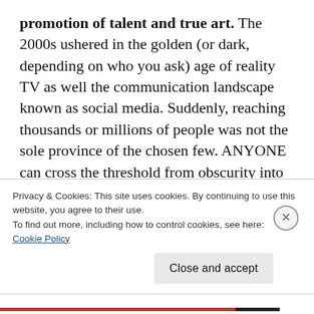promotion of talent and true art. The 2000s ushered in the golden (or dark, depending on who you ask) age of reality TV as well the communication landscape known as social media. Suddenly, reaching thousands or millions of people was not the sole province of the chosen few. ANYONE can cross the threshold from obscurity into celebrity without having to beg permission from the establishment. So what happens? Card carrying members of the elite don't want to walk red
Privacy & Cookies: This site uses cookies. By continuing to use this website, you agree to their use.
To find out more, including how to control cookies, see here:
Cookie Policy
Close and accept